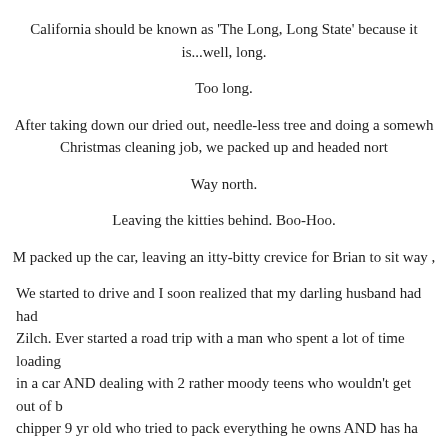California should be known as 'The Long, Long State' because it is...well, long.
Too long.
After taking down our dried out, needle-less tree and doing a somewhat Christmas cleaning job, we packed up and headed north.
Way north.
Leaving the kitties behind. Boo-Hoo.
M packed up the car, leaving an itty-bitty crevice for Brian to sit way ,
We started to drive and I soon realized that my darling husband had had Zilch. Ever started a road trip with a man who spent a lot of time loading in a car AND dealing with 2 rather moody teens who wouldn't get out of b chipper 9 yr old who tried to pack everything he owns AND has ha
Not pretty.
It was a little late for coffee, but I found him an In n Out ins
[Figure (photo): Dark/black photograph, partially visible at bottom of page]